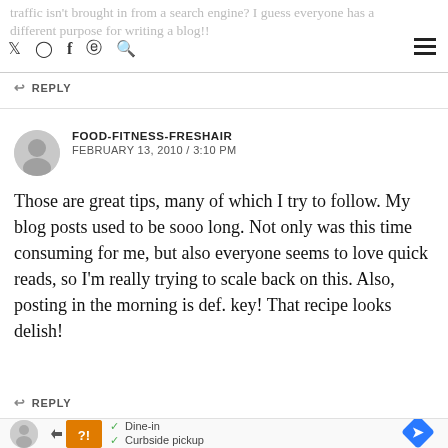traffic isn't brought in from a search engine? I guess everyone has a different purpose for writing a blog!!
REPLY
FOOD-FITNESS-FRESHAIR
FEBRUARY 13, 2010 / 3:10 PM
Those are great tips, many of which I try to follow. My blog posts used to be sooo long. Not only was this time consuming for me, but also everyone seems to love quick reads, so I'm really trying to scale back on this. Also, posting in the morning is def. key! That recipe looks delish!
REPLY
[Figure (other): Advertisement banner showing Dine-in and Curbside pickup options]